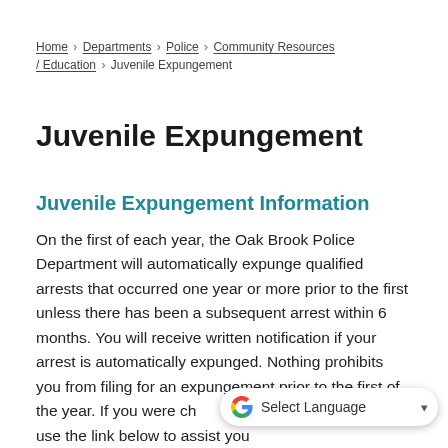Home › Departments › Police › Community Resources / Education › Juvenile Expungement
Juvenile Expungement
Juvenile Expungement Information
On the first of each year, the Oak Brook Police Department will automatically expunge qualified arrests that occurred one year or more prior to the first unless there has been a subsequent arrest within 6 months. You will receive written notification if your arrest is automatically expunged. Nothing prohibits you from filing for an expungement prior to the first of the year. If you were ch... the following, use the link below to assist you through the process.